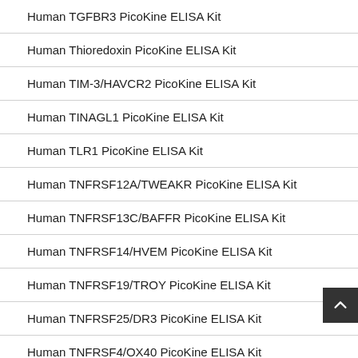Human TGFBR3 PicoKine ELISA Kit
Human Thioredoxin PicoKine ELISA Kit
Human TIM-3/HAVCR2 PicoKine ELISA Kit
Human TINAGL1 PicoKine ELISA Kit
Human TLR1 PicoKine ELISA Kit
Human TNFRSF12A/TWEAKR PicoKine ELISA Kit
Human TNFRSF13C/BAFFR PicoKine ELISA Kit
Human TNFRSF14/HVEM PicoKine ELISA Kit
Human TNFRSF19/TROY PicoKine ELISA Kit
Human TNFRSF25/DR3 PicoKine ELISA Kit
Human TNFRSF4/OX40 PicoKine ELISA Kit
Human Transthyretin/TTR PicoKine ELISA Kit
Human TREM2 PicoKine ELISA Kit
Human TREML1 PicoKine ELISA Kit